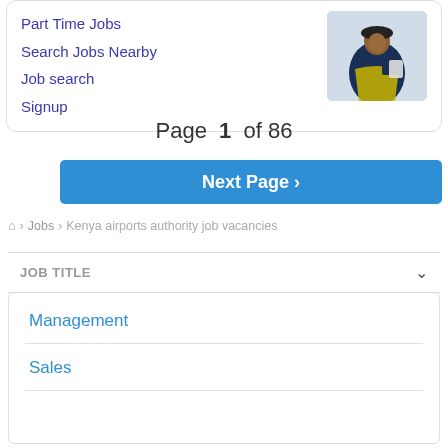Part Time Jobs
Search Jobs Nearby
Job search
Signup
[Figure (photo): Person in blue jacket and yellow safety vest using a tablet or clipboard outdoors near aircraft]
Page 1 of 86
Next Page ›
⌂ › Jobs › Kenya airports authority job vacancies
JOB TITLE
Management
Sales